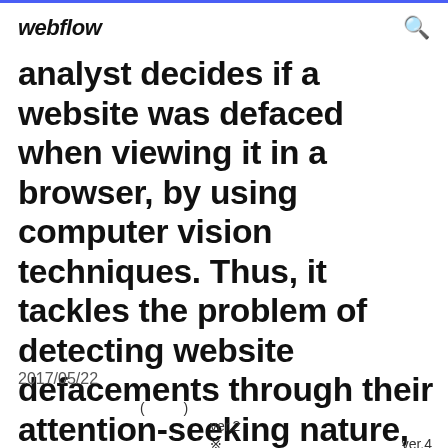webflow
analyst decides if a website was defaced when viewing it in a browser, by using computer vision techniques. Thus, it tackles the problem of detecting website defacements through their attention-seeking nature,
2017/05/22
(        )
    ver.2
    ※                              ver.4
ver.3    ver.2         A4-  A3-  A2-  ※
                    ※    Google